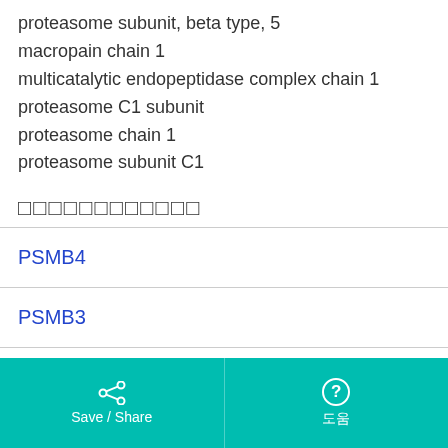proteasome subunit, beta type, 5
macropain chain 1
multicatalytic endopeptidase complex chain 1
proteasome C1 subunit
proteasome chain 1
proteasome subunit C1
□□□□□□□□□□□□
| PSMB4 |
| PSMB3 |
| PSMB2 |
Save / Share  도움